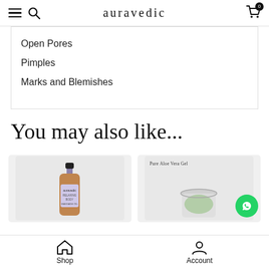auravedic
Open Pores
Pimples
Marks and Blemishes
You may also like...
[Figure (photo): Product card showing a Relaxing Body Massage Oil bottle (amber glass bottle with black cap, lavender label) on a light grey background]
[Figure (photo): Product card showing a Pure Aloe Vera Gel jar (clear glass jar with green gel, text 'Pure Aloe Vera Gel' above) on a light grey background, with a WhatsApp chat button overlay]
Shop   Account